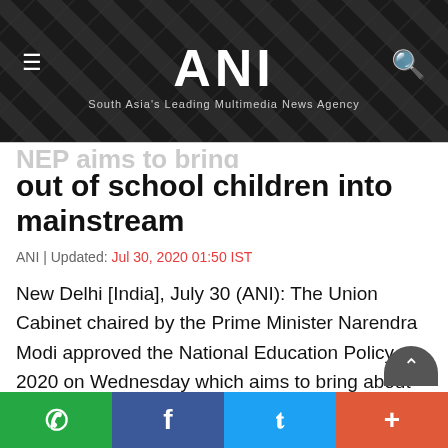ANI | South Asia's Leading Multimedia News Agency
NEP aims to bring out of school children into mainstream
ANI | Updated: Jul 30, 2020 01:50 IST
New Delhi [India], July 30 (ANI): The Union Cabinet chaired by the Prime Minister Narendra Modi approved the National Education Policy 2020 on Wednesday which aims to bring about two crore out of school children into the mainstream.
WhatsApp | Facebook | Twitter | More